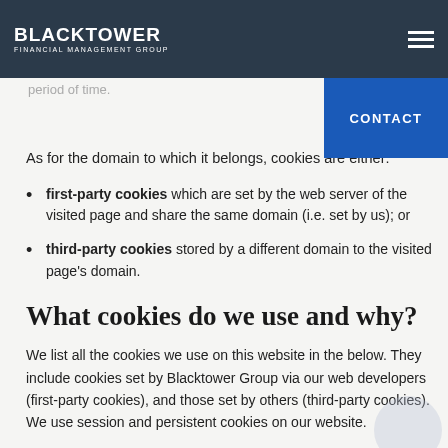BLACKTOWER FINANCIAL MANAGEMENT GROUP
persistent cookie which is saved to the hard drive and remains on the user's computer/device for a pre-defined period of time.
As for the domain to which it belongs, cookies are either:
first-party cookies which are set by the web server of the visited page and share the same domain (i.e. set by us); or
third-party cookies stored by a different domain to the visited page's domain.
What cookies do we use and why?
We list all the cookies we use on this website in the below. They include cookies set by Blacktower Group via our web developers (first-party cookies), and those set by others (third-party cookies). We use session and persistent cookies on our website.